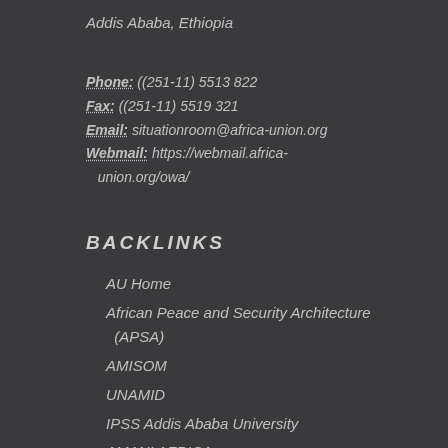Addis Ababa, Ethiopia
Phone: ((251-11) 5513 822
Fax: ((251-11) 5519 321
Email: situationroom@africa-union.org
Webmail: https://webmail.africa-union.org/owa/
BACKLINKS
AU Home
African Peace and Security Architecture (APSA)
AMISOM
UNAMID
IPSS Addis Ababa University
AMANI AFRICA